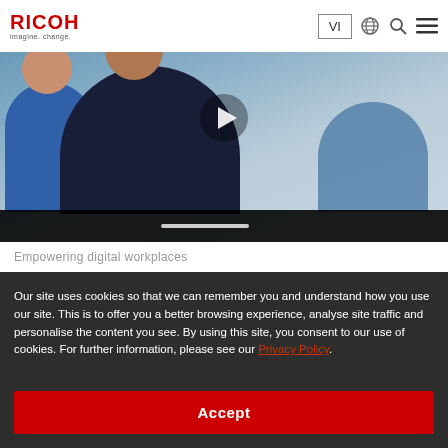RICOH imagine. change.
[Figure (photo): Video thumbnail showing people in a workplace setting, with play button overlay and black control bar at bottom]
Empowering digital workplaces
Our site uses cookies so that we can remember you and understand how you use our site. This is to offer you a better browsing experience, analyse site traffic and personalise the content you see. By using this site, you consent to our use of cookies. For further information, please see our Privacy Policy.
Accept